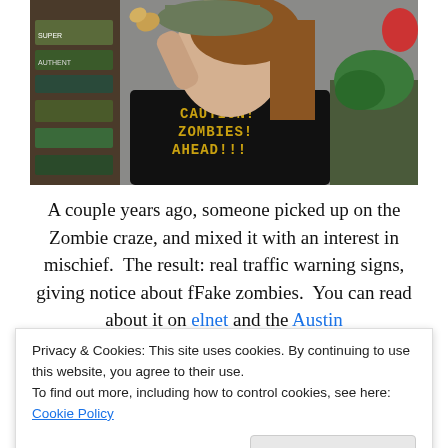[Figure (photo): A person wearing a black t-shirt that reads 'CAUTION! ZOMBIES! AHEAD!!!' in yellow pixelated font, holding something in their raised right hand. There are boxes and plants visible in the background.]
A couple years ago, someone picked up on the Zombie craze, and mixed it with an interest in mischief.  The result: real traffic warning signs, giving notice about fFake zombies.  You can read about it on elnet and the Austin
Privacy & Cookies: This site uses cookies. By continuing to use this website, you agree to their use.
To find out more, including how to control cookies, see here: Cookie Policy
Close and accept